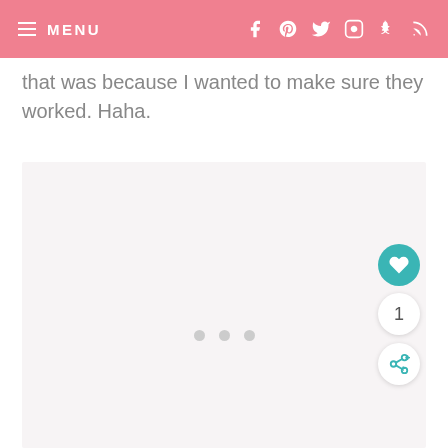MENU
that was because I wanted to make sure they worked. Haha.
[Figure (photo): Large light pink/grey image placeholder area with three gray loading dots in the center, and a teal heart button with count '1' and a share button on the right side.]